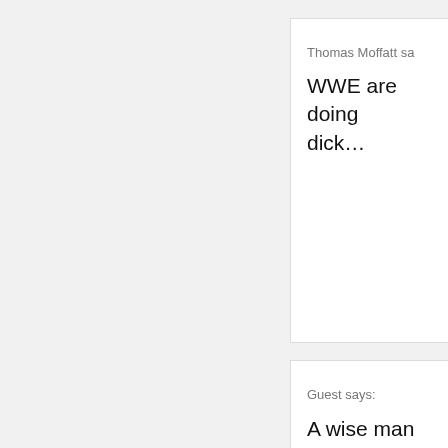Thomas Moffatt sa…
WWE are doing… dick…
Guest says:
A wise man one…
Even if they're d…
Sean Bateman says:
The 1-2-SWEEEEE…